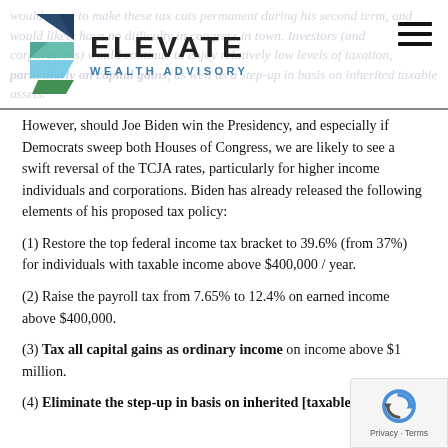Elevate Wealth Advisory — logo header
However, should Joe Biden win the Presidency, and especially if Democrats sweep both Houses of Congress, we are likely to see a swift reversal of the TCJA rates, particularly for higher income individuals and corporations. Biden has already released the following elements of his proposed tax policy:
(1) Restore the top federal income tax bracket to 39.6% (from 37%) for individuals with taxable income above $400,000 / year.
(2) Raise the payroll tax from 7.65% to 12.4% on earned income above $400,000.
(3) Tax all capital gains as ordinary income on income above $1 million.
(4) Eliminate the step-up in basis on inherited [taxable]